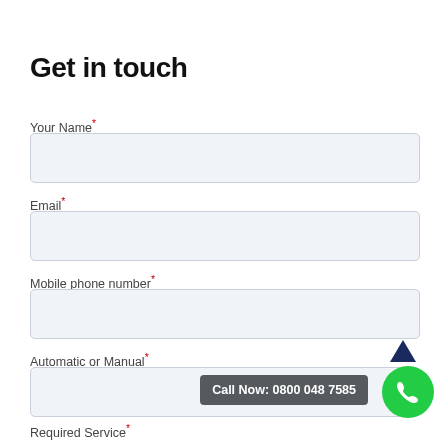Get in touch
Your Name*
Email*
Mobile phone number*
Automatic or Manual*
Call Now: 0800 048 7585
Required Service*